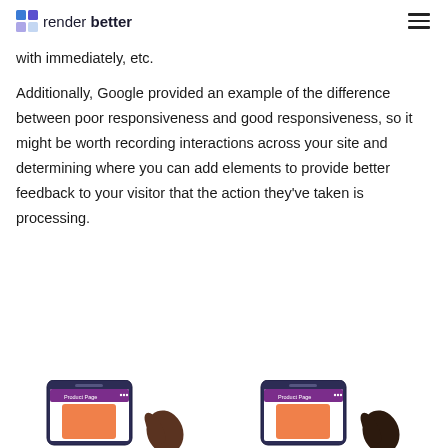render better
with immediately, etc.
Additionally, Google provided an example of the difference between poor responsiveness and good responsiveness, so it might be worth recording interactions across your site and determining where you can add elements to provide better feedback to your visitor that the action they've taken is processing.
[Figure (photo): Two smartphone screenshots showing product pages with a hand interacting with each, illustrating poor vs good responsiveness examples.]